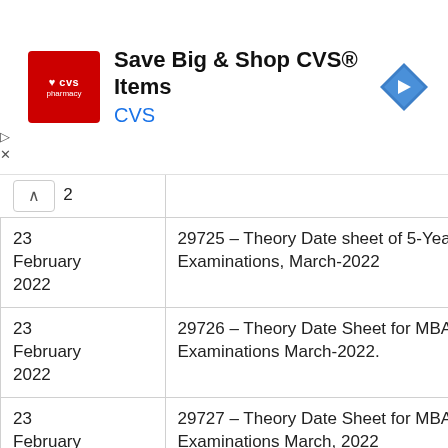[Figure (other): CVS Pharmacy advertisement banner with red CVS logo, text 'Save Big & Shop CVS® Items' and 'CVS' in blue, and a blue navigation diamond icon on the right.]
| Date | Notice |
| --- | --- |
| 23 February 2022 | 29725 – Theory Date sheet of 5-Year Examinations, March-2022 |
| 23 February 2022 | 29726 – Theory Date Sheet for MBA Examinations March-2022. |
| 23 February 2022 | 29727 – Theory Date Sheet for MBA Examinations March, 2022 |
| 23 |  |